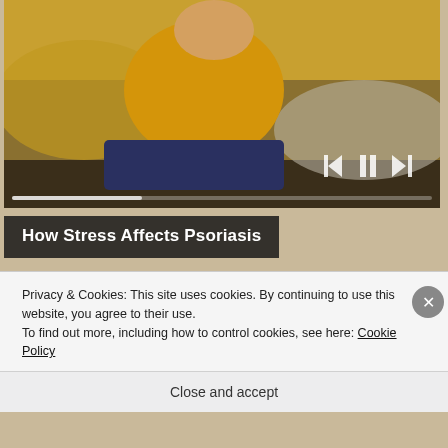[Figure (screenshot): Video thumbnail showing a person in a yellow sweater on a sofa, with media playback controls (skip back, pause, skip forward) and a progress bar at the bottom]
How Stress Affects Psoriasis
[Figure (photo): Advertisement image showing people shopping in a grocery store with carts]
$900 Grocery Allowance For Seniors
bestmedicareplans.com
Privacy & Cookies: This site uses cookies. By continuing to use this website, you agree to their use.
To find out more, including how to control cookies, see here: Cookie Policy
Close and accept